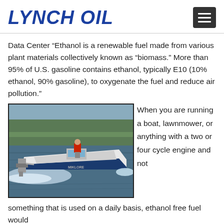LYNCH OIL
Data Center “Ethanol is a renewable fuel made from various plant materials collectively known as “biomass.” More than 95% of U.S. gasoline contains ethanol, typically E10 (10% ethanol, 90% gasoline), to oxygenate the fuel and reduce air pollution.”
[Figure (photo): A white speedboat with a person in a red jacket at the helm, powered by an outboard motor, speeding across calm water with trees in the background.]
When you are running a boat, lawnmower, or anything with a two or four cycle engine and not
something that is used on a daily basis, ethanol free fuel would